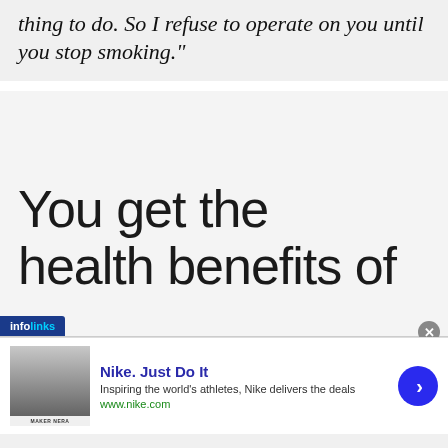thing to do. So I refuse to operate on you until you stop smoking."
You get the health benefits of
[Figure (other): Advertisement banner: Nike. Just Do It — Inspiring the world's athletes, Nike delivers the deals. www.nike.com. With thumbnail image and blue arrow circle button. Infolinks branding label at bottom left.]